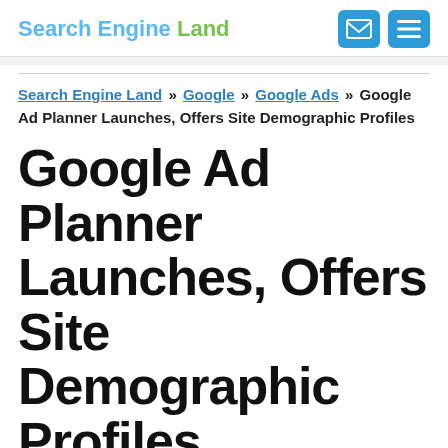Search Engine Land
Search Engine Land » Google » Google Ads » Google Ad Planner Launches, Offers Site Demographic Profiles
Google Ad Planner Launches, Offers Site Demographic Profiles
Google has launched Google Ad Planner as an invite-only beta. It's designed to allow advertisers to identify sites with